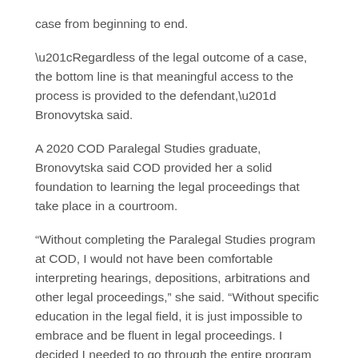case from beginning to end.
“Regardless of the legal outcome of a case, the bottom line is that meaningful access to the process is provided to the defendant,” Bronovytska said.
A 2020 COD Paralegal Studies graduate, Bronovytska said COD provided her a solid foundation to learning the legal proceedings that take place in a courtroom.
“Without completing the Paralegal Studies program at COD, I would not have been comfortable interpreting hearings, depositions, arbitrations and other legal proceedings,” she said. “Without specific education in the legal field, it is just impossible to embrace and be fluent in legal proceedings. I decided I needed to go through the entire program to obtain a solid foundation.”